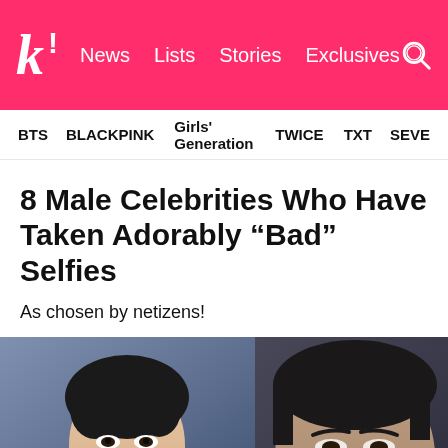k! News Lists Stories Exclusives
BTS  BLACKPINK  Girls' Generation  TWICE  TXT  SEVE
8 Male Celebrities Who Have Taken Adorably “Bad” Selfies
As chosen by netizens!
[Figure (photo): Two side-by-side photos: left shows a handsome young man with dark hair (professional photo), right shows the same or similar person in a blurry casual selfie. A pink arrow points from the left photo to the right.]